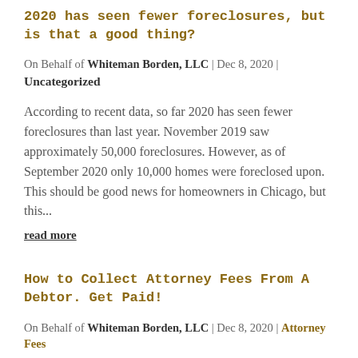2020 has seen fewer foreclosures, but is that a good thing?
On Behalf of Whiteman Borden, LLC | Dec 8, 2020 | Uncategorized
According to recent data, so far 2020 has seen fewer foreclosures than last year. November 2019 saw approximately 50,000 foreclosures. However, as of September 2020 only 10,000 homes were foreclosed upon. This should be good news for homeowners in Chicago, but this...
read more
How to Collect Attorney Fees From A Debtor. Get Paid!
On Behalf of Whiteman Borden, LLC | Dec 8, 2020 | Attorney Fees
By Adam Whiteman, Commercial Collection